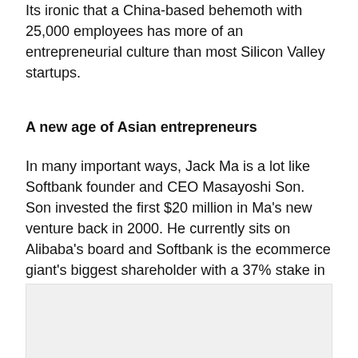Its ironic that a China-based behemoth with 25,000 employees has more of an entrepreneurial culture than most Silicon Valley startups.
A new age of Asian entrepreneurs
In many important ways, Jack Ma is a lot like Softbank founder and CEO Masayoshi Son. Son invested the first $20 million in Ma's new venture back in 2000. He currently sits on Alibaba's board and Softbank is the ecommerce giant's biggest shareholder with a 37% stake in the company.
[Figure (photo): Gray placeholder image block]
Both men come from humble beginnings. Ma grew up, went to school, and became an English teacher in